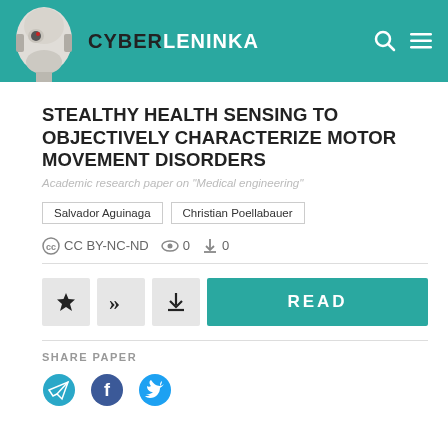[Figure (logo): CyberLeninka logo with robot head and site name in header bar]
STEALTHY HEALTH SENSING TO OBJECTIVELY CHARACTERIZE MOTOR MOVEMENT DISORDERS
Academic research paper on "Medical engineering"
Salvador Aguinaga   Christian Poellabauer
CC BY-NC-ND   0   0
[Figure (screenshot): Action buttons: star (bookmark), quote, download, and READ button]
SHARE PAPER
[Figure (infographic): Share icons: Telegram, Facebook, Twitter]